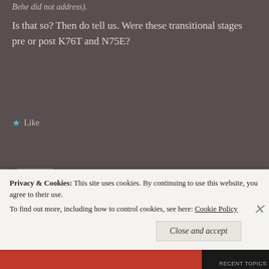Behe did not address).
Is that so? Then do tell us. Were these transitional stages pre or post K76T and N75E?
Like
rjdownard   February 19, 2019 at 9:53 pm
Gosh, sounds like you're again repeating Behe's argument, but maybe not reading the Summers paper
Privacy & Cookies: This site uses cookies. By continuing to use this website, you agree to their use.
To find out more, including how to control cookies, see here: Cookie Policy
Close and accept